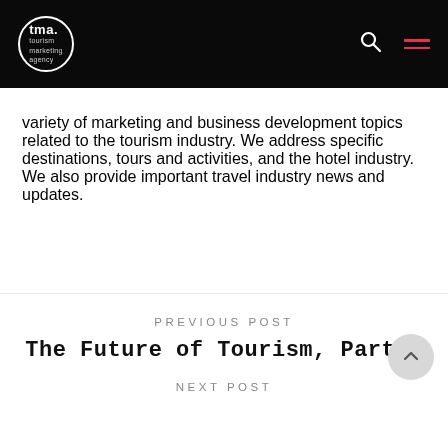tma. tourism marketing agency
variety of marketing and business development topics related to the tourism industry. We address specific destinations, tours and activities, and the hotel industry. We also provide important travel industry news and updates.
PREVIOUS POST
The Future of Tourism, Part 3
NEXT POST